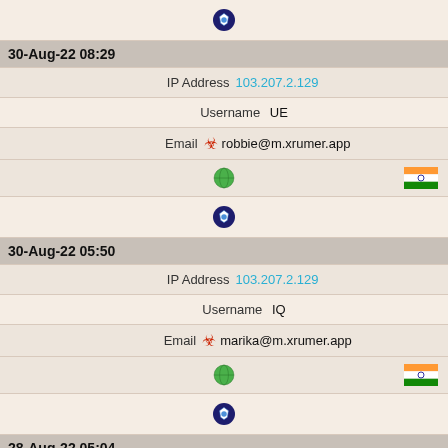[Figure (other): Brave browser icon (circular blue/white logo)]
30-Aug-22 08:29
IP Address  103.207.2.129
Username  UE
Email  robbie@m.xrumer.app
[Figure (other): Globe icon and India flag icon]
[Figure (other): Brave browser icon (circular blue/white logo)]
30-Aug-22 05:50
IP Address  103.207.2.129
Username  IQ
Email  marika@m.xrumer.app
[Figure (other): Globe icon and India flag icon]
[Figure (other): Brave browser icon (circular blue/white logo)]
28-Aug-22 05:04
IP Address  185.230.47.3
Username  JG
Email  carola@m.xrumer.app